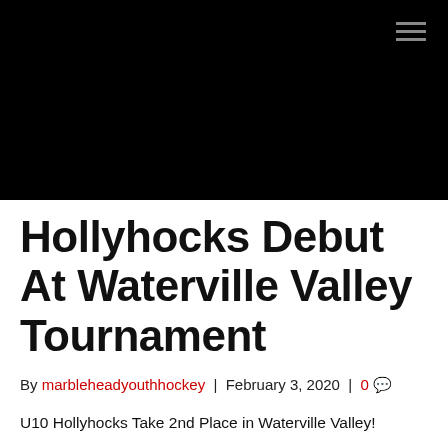[Figure (photo): Black header banner with hamburger menu icon in top-right corner]
Hollyhocks Debut At Waterville Valley Tournament
By marbleheadyouthhockey | February 3, 2020 | 0
U10 Hollyhocks Take 2nd Place in Waterville Valley!